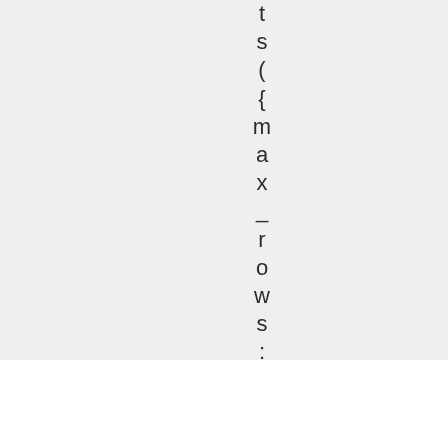t s ( { m a x _ r o w s : 1
Advertisements
[Figure (other): DuckDuckGo advertisement banner: 'Search, browse, and email with more privacy. All in One Free App' with DuckDuckGo logo on dark background]